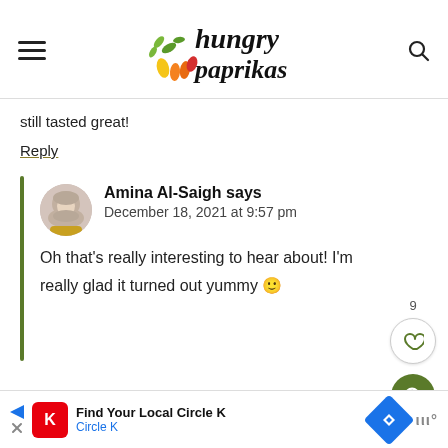[Figure (logo): Hungry Paprikas logo with vegetables illustration and script text]
still tasted great!
Reply
Amina Al-Saigh says
December 18, 2021 at 9:57 pm
Oh that's really interesting to hear about! I'm really glad it turned out yummy 🙂
[Figure (infographic): Ad bar: Find Your Local Circle K with Circle K logo and navigation icons]